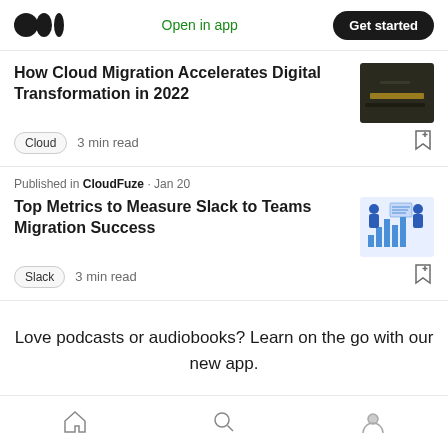Medium app header with logo, Open in app, Get started
How Cloud Migration Accelerates Digital Transformation in 2022
Cloud · 3 min read
Published in CloudFuze · Jan 20
Top Metrics to Measure Slack to Teams Migration Success
Slack · 3 min read
Love podcasts or audiobooks? Learn on the go with our new app.
Home, Search, Profile navigation icons